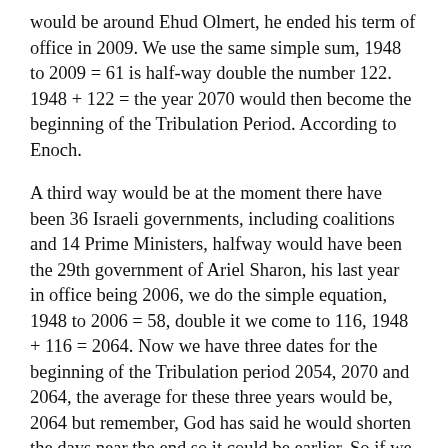would be around Ehud Olmert, he ended his term of office in 2009. We use the same simple sum, 1948 to 2009 = 61 is half-way double the number 122. 1948 + 122 = the year 2070 would then become the beginning of the Tribulation Period. According to Enoch.
A third way would be at the moment there have been 36 Israeli governments, including coalitions and 14 Prime Ministers, halfway would have been the 29th government of Ariel Sharon, his last year in office being 2006, we do the simple equation, 1948 to 2006 = 58, double it we come to 116, 1948 + 116 = 2064. Now we have three dates for the beginning of the Tribulation period 2054, 2070 and 2064, the average for these three years would be, 2064 but remember, God has said he would shorten the days near the end so it could be earlier. So if we believe Enoch and we have no reason not to, the Great Tribulation mentioned in the Bible will begin sometime around 2064. When a further 12 Jewish